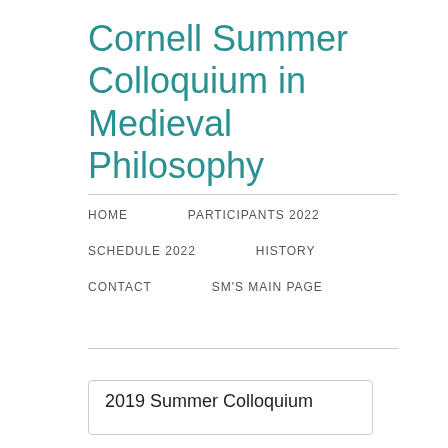Cornell Summer Colloquium in Medieval Philosophy
HOME
PARTICIPANTS 2022
SCHEDULE 2022
HISTORY
CONTACT
SM'S MAIN PAGE
2019 Summer Colloquium